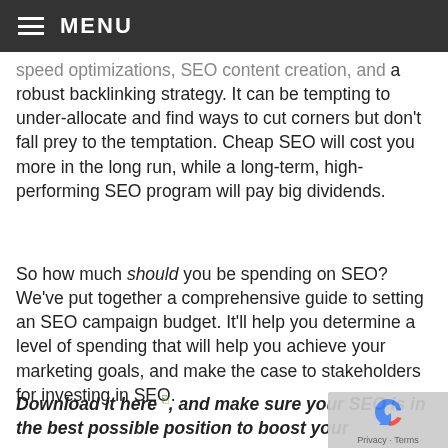MENU
speed optimizations, SEO content creation, and a robust backlinking strategy. It can be tempting to under-allocate and find ways to cut corners but don't fall prey to the temptation. Cheap SEO will cost you more in the long run, while a long-term, high-performing SEO program will pay big dividends.
So how much should you be spending on SEO? We've put together a comprehensive guide to setting an SEO campaign budget. It'll help you determine a level of spending that will help you achieve your marketing goals, and make the case to stakeholders for investing in SEO.
Download it here, and make sure your SEO is in the best possible position to boost your rankings